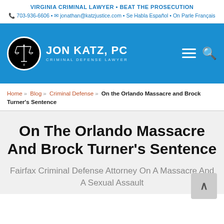VIRGINIA CRIMINAL LAWYER • BEAT THE PROSECUTION
📞 703-936-6606 • ✉ jonathan@katzjustice.com • Se Habla Español • On Parle Français
[Figure (logo): Jon Katz, PC Criminal Defense Lawyer logo with scales of justice icon on blue navigation bar]
Home » Blog » Criminal Defense » On the Orlando Massacre and Brock Turner's Sentence
On The Orlando Massacre And Brock Turner's Sentence
Fairfax Criminal Defense Attorney On A Massacre And A Sexual Assault